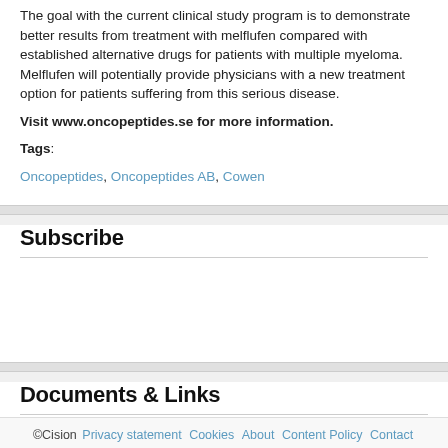The goal with the current clinical study program is to demonstrate better results from treatment with melflufen compared with established alternative drugs for patients with multiple myeloma. Melflufen will potentially provide physicians with a new treatment option for patients suffering from this serious disease.
Visit www.oncopeptides.se for more information.
Tags:
Oncopeptides, Oncopeptides AB, Cowen
Subscribe
Documents & Links
PR - Oncopeptides will present at Cowen
©Cision Privacy statement Cookies About Content Policy Contact